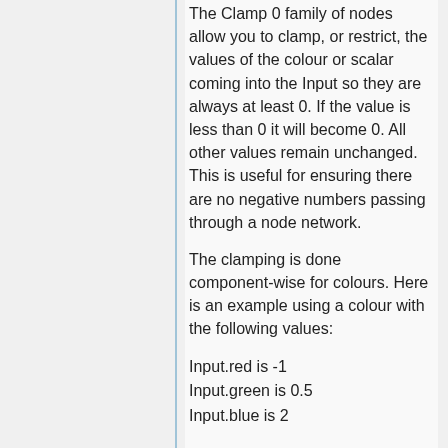The Clamp 0 family of nodes allow you to clamp, or restrict, the values of the colour or scalar coming into the Input so they are always at least 0. If the value is less than 0 it will become 0. All other values remain unchanged. This is useful for ensuring there are no negative numbers passing through a node network.
The clamping is done component-wise for colours. Here is an example using a colour with the following values:
Input.red is -1
Input.green is 0.5
Input.blue is 2
After clamping the colour will have these values:
Input.red becomes 0 (-1 was less than 0, so it becomes 0)